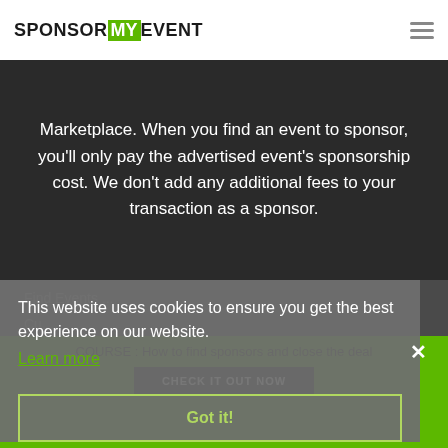SPONSOR MY EVENT (logo with hamburger menu)
Marketplace. When you find an event to sponsor, you'll only pay the advertised event's sponsorship cost. We don't add any additional fees to your transaction as a sponsor.
Find Events ...
Cu...
This website uses cookies to ensure you get the best experience on our website.
Learn more
Got it!
COURSE : How to find sponsors and close the deal
CHECK IT OUT NOW